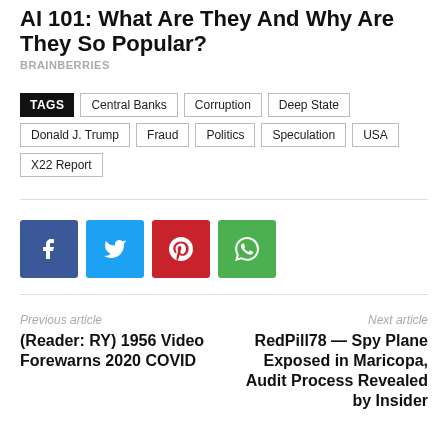AI 101: What Are They And Why Are They So Popular?
BRAINBERRIES
TAGS  Central Banks  Corruption  Deep State  Donald J. Trump  Fraud  Politics  Speculation  USA  X22 Report
[Figure (infographic): Social share buttons: Facebook (blue), Twitter (light blue), Pinterest (red), WhatsApp (green)]
Previous article
(Reader: RY) 1956 Video Forewarns 2020 COVID
Next article
RedPill78 — Spy Plane Exposed in Maricopa, Audit Process Revealed by Insider